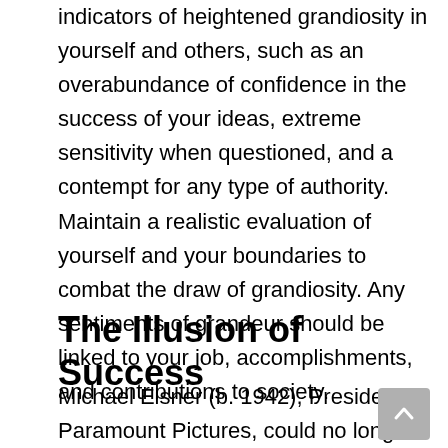indicators of heightened grandiosity in yourself and others, such as an overabundance of confidence in the success of your ideas, extreme sensitivity when questioned, and a contempt for any type of authority. Maintain a realistic evaluation of yourself and your boundaries to combat the draw of grandiosity. Any sentiments of grandeur should be linked to your job, accomplishments, and contributions to society.
The Illusion of Success
Michael Eisner (b. 1942), President of Paramount Pictures, could no longer deny the